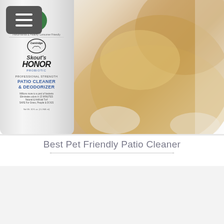[Figure (photo): Product photo of Skout's Honor Professional Strength Patio Cleaner & Deodorizer bottle alongside a golden retriever dog on white background]
Best Pet Friendly Patio Cleaner